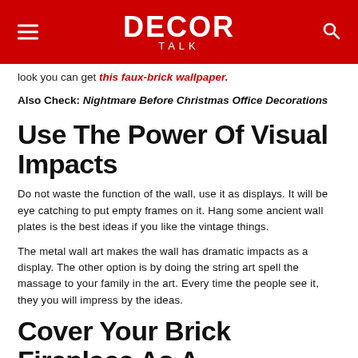DECOR TALK
look you can get this faux-brick wallpaper.
Also Check: Nightmare Before Christmas Office Decorations
Use The Power Of Visual Impacts
Do not waste the function of the wall, use it as displays. It will be eye catching to put empty frames on it. Hang some ancient wall plates is the best ideas if you like the vintage things.
The metal wall art makes the wall has dramatic impacts as a display. The other option is by doing the string art spell the massage to your family in the art. Every time the people see it, they you will impress by the ideas.
Cover Your Brick Fireplace As A...